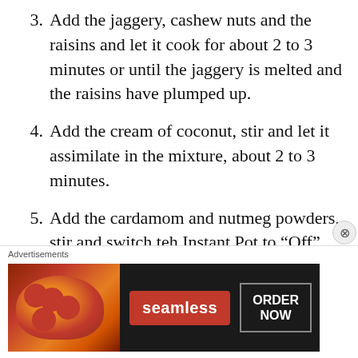3. Add the jaggery, cashew nuts and the raisins and let it cook for about 2 to 3 minutes or until the jaggery is melted and the raisins have plumped up.
4. Add the cream of coconut, stir and let it assimilate in the mixture, about 2 to 3 minutes.
5. Add the cardamom and nutmeg powders, stir and switch teh Instant Pot to “Off”
6. The Munganey thickens a little as it cools. Serve warm or at room
[Figure (screenshot): Advertisement banner for Seamless food ordering service showing pizza image, Seamless logo in red, and ORDER NOW button]